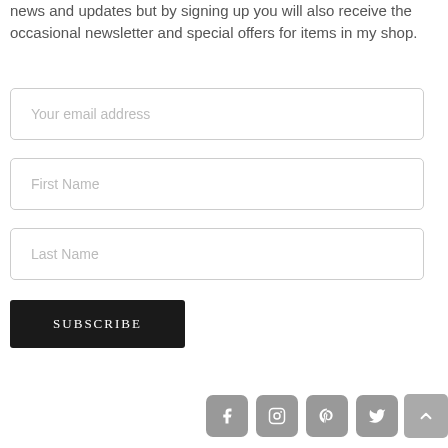news and updates but by signing up you will also receive the occasional newsletter and special offers for items in my shop.
[Figure (screenshot): Email address input field with placeholder text 'Your email address']
[Figure (screenshot): First Name input field with placeholder text 'First Name']
[Figure (screenshot): Last Name input field with placeholder text 'Last Name']
[Figure (screenshot): Dark SUBSCRIBE button]
[Figure (screenshot): Social media icons row: Facebook, Instagram, Pinterest, Twitter, and a scroll-to-top button]